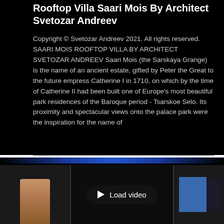Rooftop Villa Saari Mois By Architect Svetozar Andreev
Copyright © Svetozar Andreev 2021. All rights reserved. SAARI MOIS ROOFTOP VILLA BY ARCHITECT SVETOZAR ANDREEV Saari Mois (the Sarskaya Grange) is the name of an ancient estate, gifted by Peter the Great to the future empress Catherine I in 1710, on which by the time of Catherine II had been built one of Europe's most beautiful park residences of the Baroque period - Tsarskoe Selo. Its proximity and spectacular views onto the palace park were the inspiration for the name of
[Figure (screenshot): Video thumbnail with three panels: left panel shows a person figure, center panel shows a dark 'Load video' button with play triangle, right panel shows a blue rectangle and dark figure. A thin blue gradient bar appears above the panels.]